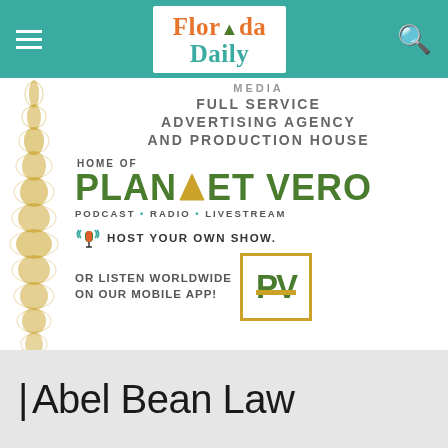Florida Daily
[Figure (logo): Planet Vero Media advertisement: Full Service Advertising Agency and Production House, Home of Planet Vero, Podcast Radio Livestream, Host Your Own Show, Or Listen Worldwide On Our Mobile App, with PV logo box]
[Figure (logo): Abel Bean Law advertisement banner with gray background]